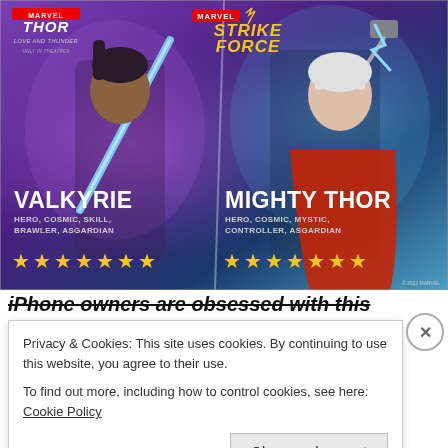[Figure (illustration): Marvel Strike Force promotional image featuring two characters: Valkyrie (left) with blue sword, and Mighty Thor (right) with lightning hammer. Both on purple/blue gradient background. Valkyrie labeled HERO, COSMIC, SKILL, BRAWLER, ASGARDIAN with 7 gold stars. Mighty Thor labeled HERO, COSMIC, MYSTIC, CONTROLLER, ASGARDIAN with 7 gold stars. Thor: Love and Thunder logo top-left, Marvel Strike Force logo top-center.]
iPhone owners are obsessed with this
Privacy & Cookies: This site uses cookies. By continuing to use this website, you agree to their use.
To find out more, including how to control cookies, see here: Cookie Policy
Close and accept